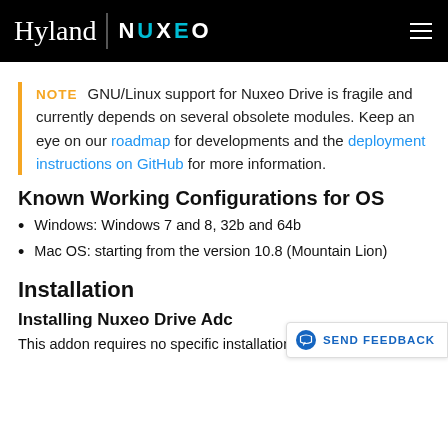Hyland | NUXEO
NOTE  GNU/Linux support for Nuxeo Drive is fragile and currently depends on several obsolete modules. Keep an eye on our roadmap for developments and the deployment instructions on GitHub for more information.
Known Working Configurations for OS
Windows: Windows 7 and 8, 32b and 64b
Mac OS: starting from the version 10.8 (Mountain Lion)
Installation
Installing Nuxeo Drive Adc
This addon requires no specific installation steps. It can